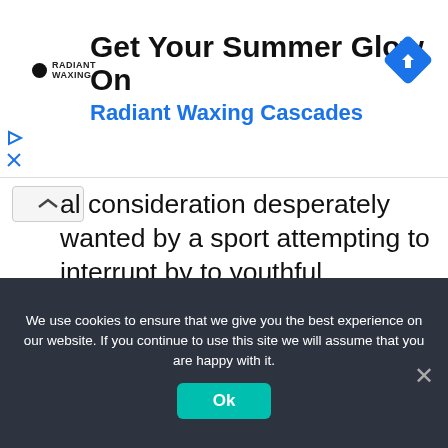[Figure (infographic): Advertisement banner for Radiant Waxing Cascades. Logo on left, headline 'Get Your Summer Glow On', subheadline 'Radiant Waxing Cascades' in blue, navigation arrow icon on right.]
al consideration desperately wanted by a sport attempting to interrupt by to youthful followers. Now, in partnership with former UFC CFO Nakisa Bidarian, he is utilizing his firm, Most Useful Promotions, to reshape the requirements of boxing.
READ MORE
on Newz Online
We use cookies to ensure that we give you the best experience on our website. If you continue to use this site we will assume that you are happy with it.
Ok